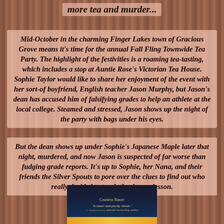more tea and murder...
Mid-October in the charming Finger Lakes town of Gracious Grove means it's time for the annual Fall Fling Townwide Tea Party. The highlight of the festivities is a roaming tea-tasting, which includes a stop at Auntie Rose's Victorian Tea House. Sophie Taylor would like to share her enjoyment of the event with her sort-of boyfriend, English teacher Jason Murphy, but Jason's dean has accused him of falsifying grades to help an athlete at the local college. Steamed and stressed, Jason shows up the night of the party with bags under his eyes.
But the dean shows up under Sophie's Japanese Maple later that night, murdered, and now Jason is suspected of far worse than fudging grade reports. It's up to Sophie, her Nana, and their friends the Silver Spouts to pore over the clues to find out who really decided to teach the dean a lesson.
[Figure (photo): Book cover image at the bottom of the page showing a dark cover with a quote: 'A smart and plucky sleuth.' - Virginia Lowell, national bestselling author]